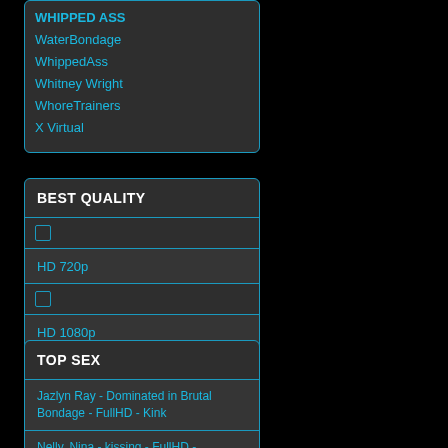WHIPPED ASS
WaterBondage
WhippedAss
Whitney Wright
WhoreTrainers
X Virtual
BEST QUALITY
HD 720p
HD 1080p
TOP SEX
Jazlyn Ray - Dominated in Brutal Bondage - FullHD - Kink
Nelly, Nina - kissing - FullHD - MetalBondage